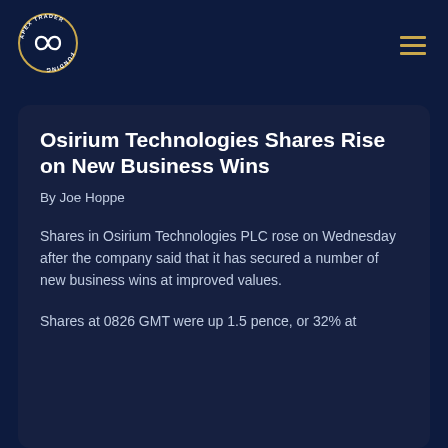[Figure (logo): Apex Trader Funding circular logo with infinity symbol in the center and text around the border]
Osirium Technologies Shares Rise on New Business Wins
By Joe Hoppe
Shares in Osirium Technologies PLC rose on Wednesday after the company said that it has secured a number of new business wins at improved values.
Shares at 0826 GMT were up 1.5 pence, or 32% at